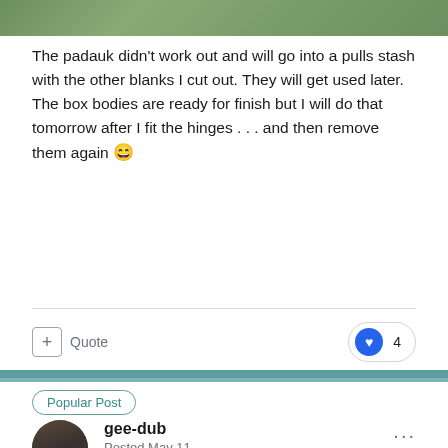[Figure (photo): Green/nature photo strip at top of page]
The padauk didn't work out and will go into a pulls stash with the other blanks I cut out. They will get used later. The box bodies are ready for finish but I will do that tomorrow after I fit the hinges . . . and then remove them again 😄
+ Quote
❤ 4
Popular Post
gee-dub
Posted May 11
The floating tops and bottoms are pre-finished. They are also contrasting material so I tape them off. The insides are also pre-